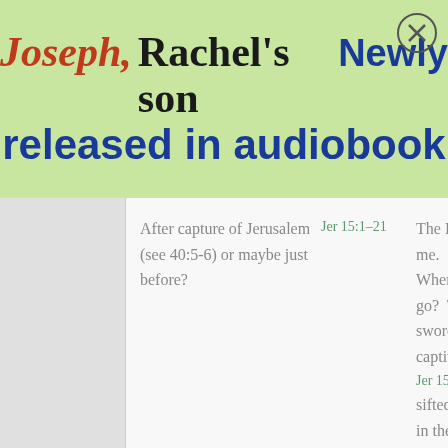[Figure (screenshot): Advertisement banner for 'Joseph, Rachel's son' audiobook with green background. Title shows 'Joseph,' in italic red, 'Rachel's son' in bold black, and 'Newly released in audiobook' in bold blue. A close button (X in circle) appears in the top right.]
After capture of Jerusalem (see 40:5-6) or maybe just before?
Jer 15:1-21
The Lo me. Where go? T sword captiv Jer 15: sifted in the g land ( Jer 15: numer